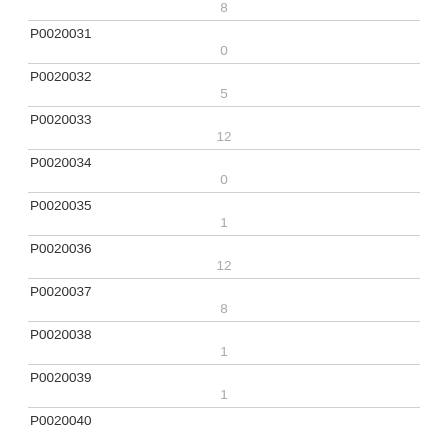| ID | Value |
| --- | --- |
|  | 8 |
| P0020031 | 0 |
| P0020032 | 5 |
| P0020033 | 12 |
| P0020034 | 0 |
| P0020035 | 1 |
| P0020036 | 12 |
| P0020037 | 8 |
| P0020038 | 1 |
| P0020039 | 1 |
| P0020040 |  |